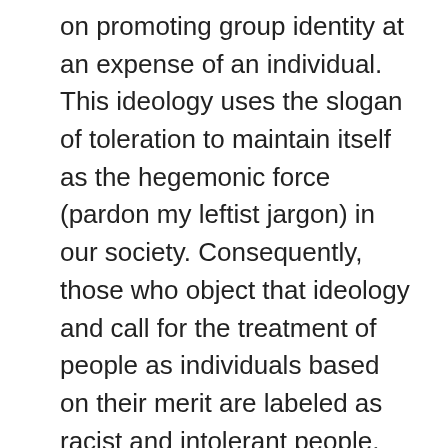on promoting group identity at an expense of an individual. This ideology uses the slogan of toleration to maintain itself as the hegemonic force (pardon my leftist jargon) in our society. Consequently, those who object that ideology and call for the treatment of people as individuals based on their merit are labeled as racist and intolerant people. This explains the reticence and fear both in society and especially among bureaucrats to question the dubious nature of the whole project. By the way, that was precisely the niche that Cultural Marxists from BLM were able to use to wiggle themselves into the mainstream and to successfully intimidate